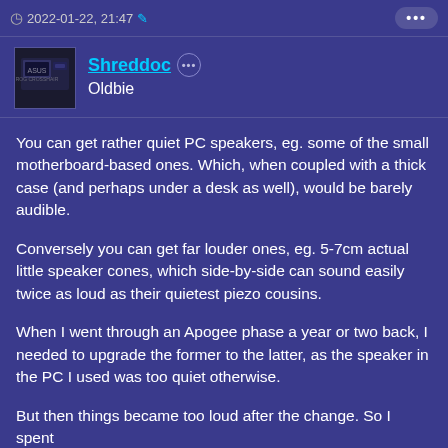2022-01-22, 21:47
Shreddoc
Oldbie
You can get rather quiet PC speakers, eg. some of the small motherboard-based ones. Which, when coupled with a thick case (and perhaps under a desk as well), would be barely audible.
Conversely you can get far louder ones, eg. 5-7cm actual little speaker cones, which side-by-side can sound easily twice as loud as their quietest piezo cousins.
When I went through an Apogee phase a year or two back, I needed to upgrade the former to the latter, as the speaker in the PC I used was too quiet otherwise.
But then things became too loud after the change. So I spent